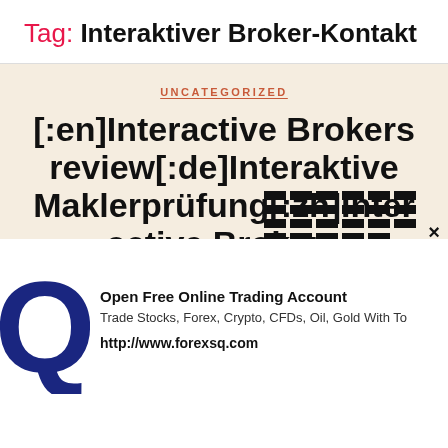Tag: Interaktiver Broker-Kontakt
UNCATEGORIZED
[:en]Interactive Brokers review[:de]Interaktive Maklerprüfung[:zh]Interactive Brokers
[Figure (other): Advertisement overlay with Q logo icon, text 'Open Free Online Trading Account', 'Trade Stocks, Forex, Crypto, CFDs, Oil, Gold With To', and URL 'http://www.forexsq.com', with striped pattern and close X button]